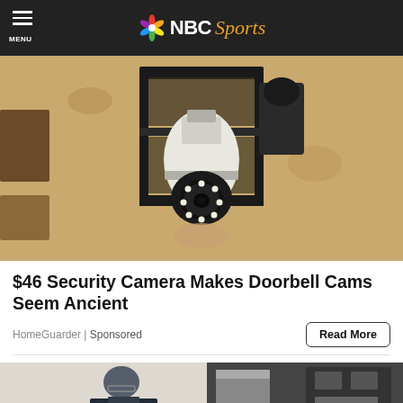NBC Sports
[Figure (photo): A security camera shaped like a light bulb installed in an outdoor lantern-style fixture mounted on a textured stucco wall.]
$46 Security Camera Makes Doorbell Cams Seem Ancient
HomeGuarder | Sponsored
[Figure (photo): A man in dark clothing leaning over what appears to be kitchen or industrial equipment, with metal appliances visible in the background.]